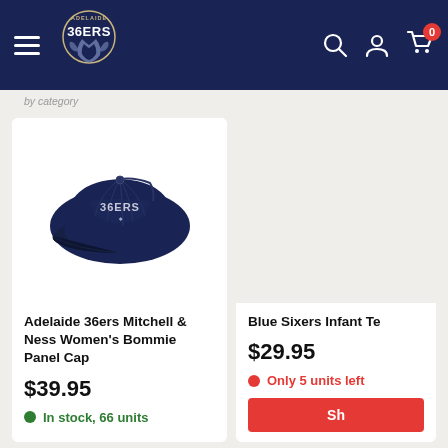Adelaide 36ers online store — navigation bar with logo, search, account, and cart (0 items)
[Figure (screenshot): Adelaide 36ers Mitchell & Ness Women's Bommie Panel Cap — navy blue baseball cap with 36ers embroidered logo]
Adelaide 36ers Mitchell & Ness Women's Bommie Panel Cap
$39.95
In stock, 66 units
Blue Sixers Infant Te
$29.95
Only 5 units left